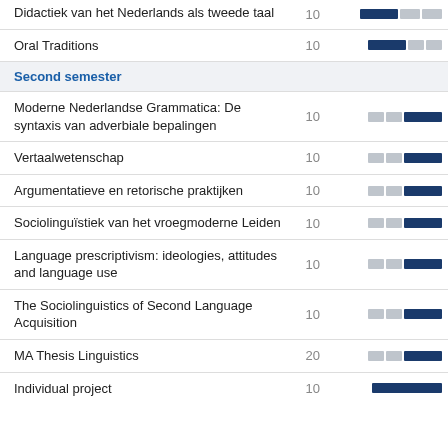| Course | EC | Period |
| --- | --- | --- |
| Didactiek van het Nederlands als tweede taal | 10 | [bar: dark-light-light] |
| Oral Traditions | 10 | [bar: dark-light-light] |
| Second semester |  |  |
| Moderne Nederlandse Grammatica: De syntaxis van adverbiale bepalingen | 10 | [bar: light-light-dark] |
| Vertaalwetenschap | 10 | [bar: light-light-dark] |
| Argumentatieve en retorische praktijken | 10 | [bar: light-light-dark] |
| Sociolinguïstiek van het vroegmoderne Leiden | 10 | [bar: light-light-dark] |
| Language prescriptivism: ideologies, attitudes and language use | 10 | [bar: light-light-dark] |
| The Sociolinguistics of Second Language Acquisition | 10 | [bar: light-light-dark] |
| MA Thesis Linguistics | 20 | [bar: light-light-dark] |
| Individual project | 10 | [bar: dark] |